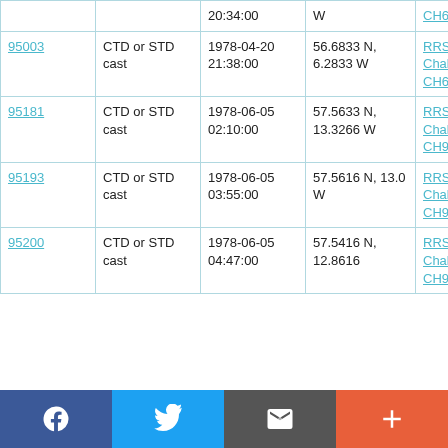| ID | Type | Date/Time | Location | Cruise |
| --- | --- | --- | --- | --- |
|  |  | 20:34:00 | W | CH6/78 |
| 95003 | CTD or STD cast | 1978-04-20 21:38:00 | 56.6833 N, 6.2833 W | RRS Challenger CH6/78 |
| 95181 | CTD or STD cast | 1978-06-05 02:10:00 | 57.5633 N, 13.3266 W | RRS Challenger CH9/78 |
| 95193 | CTD or STD cast | 1978-06-05 03:55:00 | 57.5616 N, 13.0 W | RRS Challenger CH9/78 |
| 95200 | CTD or STD cast | 1978-06-05 04:47:00 | 57.5416 N, 12.8616 | RRS Challenger CH9/78 |